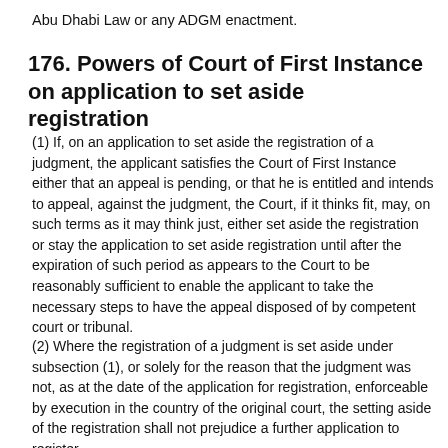Abu Dhabi Law or any ADGM enactment.
176. Powers of Court of First Instance on application to set aside registration
(1) If, on an application to set aside the registration of a judgment, the applicant satisfies the Court of First Instance either that an appeal is pending, or that he is entitled and intends to appeal, against the judgment, the Court, if it thinks fit, may, on such terms as it may think just, either set aside the registration or stay the application to set aside registration until after the expiration of such period as appears to the Court to be reasonably sufficient to enable the applicant to take the necessary steps to have the appeal disposed of by competent court or tribunal.
(2) Where the registration of a judgment is set aside under subsection (1), or solely for the reason that the judgment was not, as at the date of the application for registration, enforceable by execution in the country of the original court, the setting aside of the registration shall not prejudice a further application to register the judgment when the difficulty has been removed.